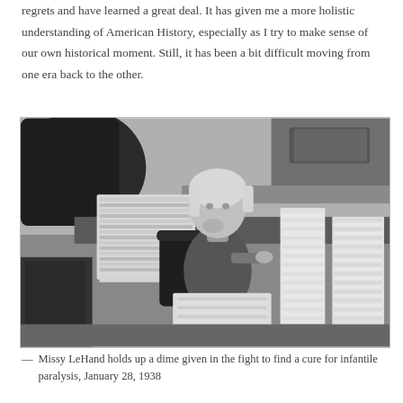regrets and have learned a great deal. It has given me a more holistic understanding of American History, especially as I try to make sense of our own historical moment. Still, it has been a bit difficult moving from one era back to the other.
[Figure (photo): Black and white photograph of Missy LeHand sitting at a desk surrounded by large stacks of papers/letters, holding up something small (a dime), January 28, 1938]
— Missy LeHand holds up a dime given in the fight to find a cure for infantile paralysis, January 28, 1938